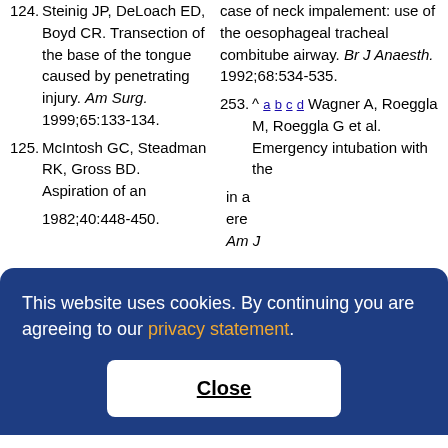124. Steinig JP, DeLoach ED, Boyd CR. Transection of the base of the tongue caused by penetrating injury. Am Surg. 1999;65:133-134.
125. McIntosh GC, Steadman RK, Gross BD. Aspiration of an ... 1982;40:448-450.
case of neck impalement: use of the oesophageal tracheal combitube airway. Br J Anaesth. 1992;68:534-535.
253. ^ a b c d Wagner A, Roeggla M, Roeggla G et al. Emergency intubation with the ... in a ... ere Am J ... -683.
Milne B. 1982;40:448-450.
This website uses cookies. By continuing you are agreeing to our privacy statement.
Close